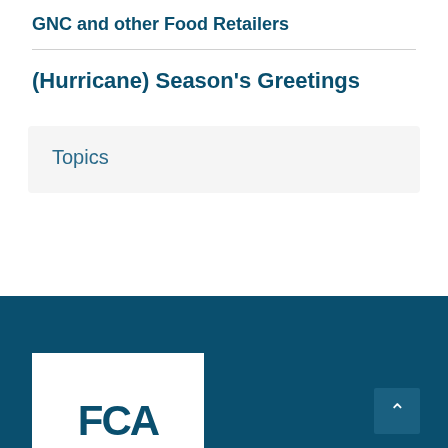GNC and other Food Retailers
(Hurricane) Season's Greetings
Topics
FCA footer with logo